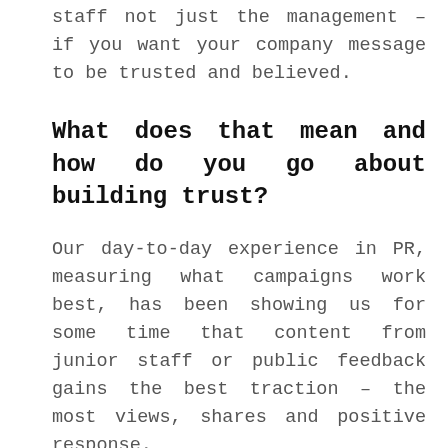staff not just the management – if you want your company message to be trusted and believed.
What does that mean and how do you go about building trust?
Our day-to-day experience in PR, measuring what campaigns work best, has been showing us for some time that content from junior staff or public feedback gains the best traction – the most views, shares and positive response.